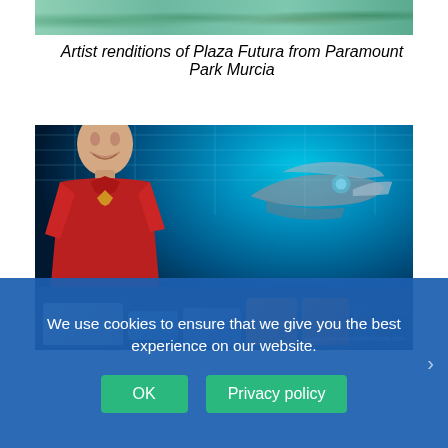[Figure (photo): Top portion of an artist rendition photo showing people at Plaza Futura from Paramount Park Murcia]
Artist renditions of Plaza Futura from Paramount Park Murcia
[Figure (photo): Photo of a person in a Star Trek red uniform smiling, standing in front of a Star Trek themed backdrop with spaceships, at Paramount Park Murcia. Watermark: www.paramountparkmurcia.com]
We use cookies to ensure that we give you the best experience on our website.
OK
Privacy policy